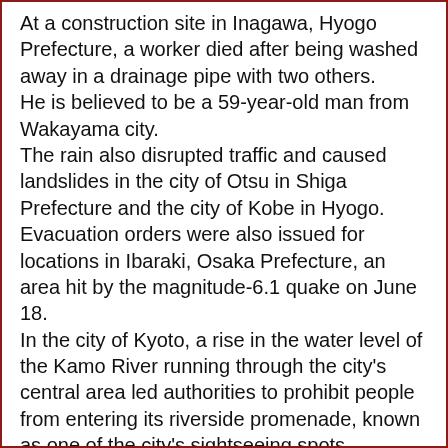At a construction site in Inagawa, Hyogo Prefecture, a worker died after being washed away in a drainage pipe with two others.
He is believed to be a 59-year-old man from Wakayama city.
The rain also disrupted traffic and caused landslides in the city of Otsu in Shiga Prefecture and the city of Kobe in Hyogo.
Evacuation orders were also issued for locations in Ibaraki, Osaka Prefecture, an area hit by the magnitude-6.1 quake on June 18.
In the city of Kyoto, a rise in the water level of the Kamo River running through the city's central area led authorities to prohibit people from entering its riverside promenade, known as one of the city's sightseeing spots.
A bridge across the Katsura River in Arashiyama, another famous tourist attraction in the city, was also closed due to the same reason.
Multiple express and local trains were cancelled and an expressway connecting central and western Japan was partially closed, according to railway and road operators.
The weather agency says heavy rain of up to 70 millimetres per hour is expected through Friday in the Kinki region.